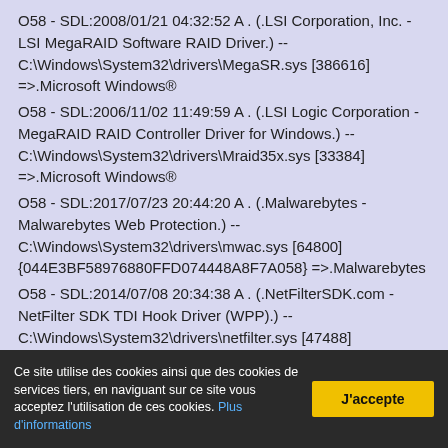O58 - SDL:2008/01/21 04:32:52 A . (.LSI Corporation, Inc. - LSI MegaRAID Software RAID Driver.) -- C:\Windows\System32\drivers\MegaSR.sys [386616] =>.Microsoft Windows®
O58 - SDL:2006/11/02 11:49:59 A . (.LSI Logic Corporation - MegaRAID RAID Controller Driver for Windows.) -- C:\Windows\System32\drivers\Mraid35x.sys [33384] =>.Microsoft Windows®
O58 - SDL:2017/07/23 20:44:20 A . (.Malwarebytes - Malwarebytes Web Protection.) -- C:\Windows\System32\drivers\mwac.sys [64800] {044E3BF58976880FFD074448A8F7A058} =>.Malwarebytes
O58 - SDL:2014/07/08 20:34:38 A . (.NetFilterSDK.com - NetFilter SDK TDI Hook Driver (WPP).) -- C:\Windows\System32\drivers\netfilter.sys [47488] =>PUP.Optional.AdPeak
O58 - SDL:2008/04/28 00:29:26 A . (.Intel Corporation - Intel® Wireless WiFi Link Driver.) -- C:\Windows\System32\drivers\NETw5v32.sys [3658752]
Ce site utilise des cookies ainsi que des cookies de services tiers, en naviguant sur ce site vous acceptez l'utilisation de ces cookies. Plus d'informations
J'accepte